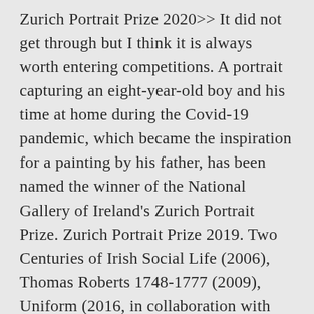Zurich Portrait Prize 2020>> It did not get through but I think it is always worth entering competitions. A portrait capturing an eight-year-old boy and his time at home during the Covid-19 pandemic, which became the inspiration for a painting by his father, has been named the winner of the National Gallery of Ireland's Zurich Portrait Prize. Zurich Portrait Prize 2019. Two Centuries of Irish Social Life (2006), Thomas Roberts 1748-1777 (2009), Uniform (2016, in collaboration with Jackie Nickerson) and Creating History. Patrick Manley is the CEO of Zurich Insurance plc. My hand is on her foot. There are lots of benefits! Zurich is very proud to be associated with this